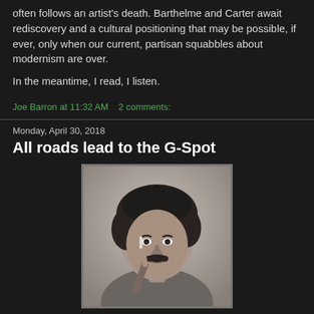often follows an artist's death. Barthelme and Carter await rediscovery and a cultural positioning that may be possible, if ever, only when our current, partisan squabbles about modernism are over.
In the meantime, I read, I listen.
Joe Barron at 11:32 AM    2 comments:
Monday, April 30, 2018
All roads lead to the G-Spot
[Figure (photo): Black and white portrait photo of a man with curly dark hair and a mustache, holding a cigarette, wearing a shirt]